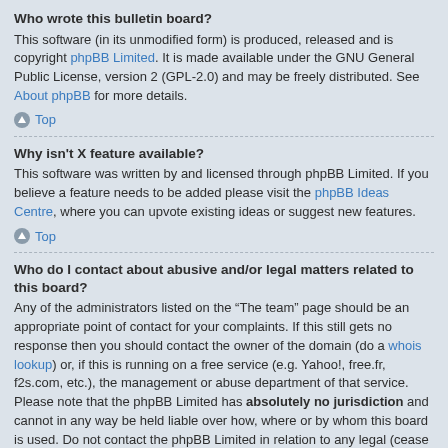Who wrote this bulletin board?
This software (in its unmodified form) is produced, released and is copyright phpBB Limited. It is made available under the GNU General Public License, version 2 (GPL-2.0) and may be freely distributed. See About phpBB for more details.
Top
Why isn't X feature available?
This software was written by and licensed through phpBB Limited. If you believe a feature needs to be added please visit the phpBB Ideas Centre, where you can upvote existing ideas or suggest new features.
Top
Who do I contact about abusive and/or legal matters related to this board?
Any of the administrators listed on the “The team” page should be an appropriate point of contact for your complaints. If this still gets no response then you should contact the owner of the domain (do a whois lookup) or, if this is running on a free service (e.g. Yahoo!, free.fr, f2s.com, etc.), the management or abuse department of that service. Please note that the phpBB Limited has absolutely no jurisdiction and cannot in any way be held liable over how, where or by whom this board is used. Do not contact the phpBB Limited in relation to any legal (cease and desist, liable, defamatory comment, etc.) matter not directly related to the phpBB.com website or the discrete software of phpBB itself. If you do email phpBB Limited about any third party use of this